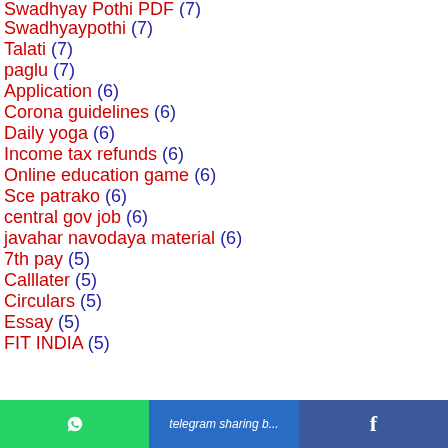Swadhyay Pothi PDF (7)
Swadhyaypothi (7)
Talati (7)
paglu (7)
Application (6)
Corona guidelines (6)
Daily yoga (6)
Income tax refunds (6)
Online education game (6)
Sce patrako (6)
central gov job (6)
javahar navodaya material (6)
7th pay (5)
Calllater (5)
Circulars (5)
Essay (5)
FIT INDIA (5)
WhatsApp | Telegram sharing button | Facebook